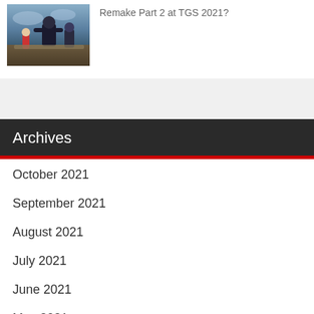[Figure (photo): Thumbnail image of Final Fantasy VII Remake characters — a girl in red dress and armored characters posed together outdoors]
Remake Part 2 at TGS 2021?
Archives
October 2021
September 2021
August 2021
July 2021
June 2021
May 2021